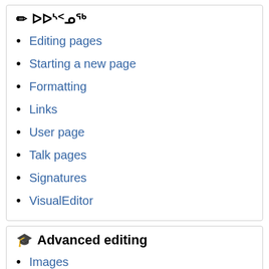✏ ᐅᐅᔅᑉᓄᖅ
Editing pages
Starting a new page
Formatting
Links
User page
Talk pages
Signatures
VisualEditor
🎓 Advanced editing
Images